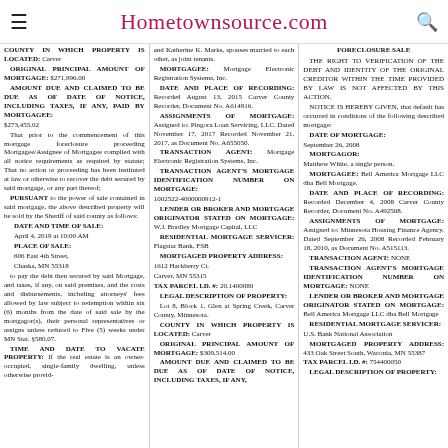Hometownsource.com
COUNTY IN WHICH PROPERTY IS LOCATED: Carver
ORIGINAL PRINCIPAL AMOUNT OF MORTGAGE: $271,996.00
AMOUNT DUE AND CLAIMED TO BE DUE AS OF DATE OF NOTICE, INCLUDING TAXES, IF ANY, PAID BY MORTGAGEE: $273,455.02
That prior to the commencement of this mortgage foreclosure proceeding Mortgagee/Assignee of Mortgagee complied with all notice requirements as required by statute; That no action or proceeding has been instituted at law or otherwise to recover the debt secured by said mortgage, or any part thereof;
PURSUANT to the power of sale contained in said mortgage, the above described property will be sold by the Sheriff of said county as follows:
DATE AND TIME OF SALE: April 4, 2019 at 10:00 AM
PLACE OF SALE: 606 East 4th Street, Chaska, MN 55318
to pay the debt then secured by said Mortgage, and taxes, if any, on said premises, and the costs and disbursements, including attorneys' fees allowed by law subject to redemption within six (6) months from the date of said sale by the mortgagor(s), their personal representatives or assigns unless reduced to Five (5) weeks under MN Stat. §580.07.
TIME AND DATE TO VACATE PROPERTY: If the real estate is an owner-occupied, single-family dwelling, unless otherwise provid-
and Katherine K. Marks, spouses married to each other, as joint tenants.
MORTGAGEE: Mortgage Electronic Registration Systems, Inc.
DATE AND PLACE OF RECORDING: Recorded August 13, 2015 Carver County Recorder, Document No. A614916.
ASSIGNMENTS OF MORTGAGE: Assigned to: Pingora Loan Servicing, LLC. Dated November 17, 2017 Recorded November 21, 2017, as Document No. A655050.
TRANSACTION AGENT: Mortgage Electronic Registration Systems, Inc.
TRANSACTION AGENT'S MORTGAGE IDENTIFICATION NUMBER ON MORTGAGE: 1002522-4000000912-1
LENDER OR BROKER AND MORTGAGE ORIGINATOR STATED ON MORTGAGE: W.J. Bradley Mortgage Capital, LLC
RESIDENTIAL MORTGAGE SERVICER: Flagstar Bank, FSB
MORTGAGED PROPERTY ADDRESS: 1612 Hackberry Ct. Carver, MN 55315
TAX PARCEL I.D. #: 20.1400080
LEGAL DESCRIPTION OF PROPERTY:
Lot 8, Block 1, Glen at Spring Creek, Carver County, Minnesota.
COUNTY IN WHICH PROPERTY IS LOCATED: Carver
ORIGINAL PRINCIPAL AMOUNT OF MORTGAGE: $309,514.00
AMOUNT DUE AND CLAIMED TO BE DUE AS OF DATE OF NOTICE, INCLUDING TAXES, IF ANY,
FORECLOSURE SALE
THE RIGHT TO VERIFICATION OF THE DEBT AND IDENTITY OF THE ORIGINAL CREDITOR WITHIN THE TIME PROVIDED BY LAW IS NOT AFFECTED BY THIS ACTION.
NOTICE IS HEREBY GIVEN, that default has occurred in conditions of the following described mortgage:
DATE OF MORTGAGE: September 26, 2008
MORTGAGOR: Matthew White, a single person.
MORTGAGEE: Bell America Mortgage LLC dba Bell Mortgage.
DATE AND PLACE OF RECORDING: Recorded December 4, 2008 Carver County Recorder, Document No. A492508.
ASSIGNMENTS OF MORTGAGE: Assigned to: Minnesota Housing Finance Agency. Dated September 26, 2008 Recorded February 18, 2010, as Document No. A515113.
TRANSACTION AGENT: NONE
TRANSACTION AGENT'S MORTGAGE IDENTIFICATION NUMBER ON MORTGAGE: NONE
LENDER OR BROKER AND MORTGAGE ORIGINATOR STATED ON MORTGAGE: Bell America Mortgage LLC dba Bell Mortgage
RESIDENTIAL MORTGAGE SERVICER:
U.S. Bank National Association
MORTGAGED PROPERTY ADDRESS: 433 Oak Street South, Waconia, MN 55387
TAX PARCEL I.D. #: 754400050
LEGAL DESCRIPTION OF PROPERTY: